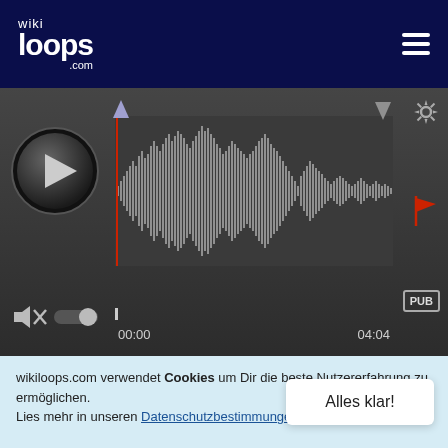[Figure (logo): wikiloops.com logo in white on dark navy header, with hamburger menu icon on right]
[Figure (screenshot): Audio player with waveform display, play button, time markers 00:00 and 04:04, PUB badge, red playhead line, and red flag marker]
denisk
Fantastic, Alex ❤
+2
wikiloops.com verwendet Cookies um Dir die beste Nutzererfahrung zu ermöglichen. Lies mehr in unseren Datenschutzbestimmungen .
Alles klar!